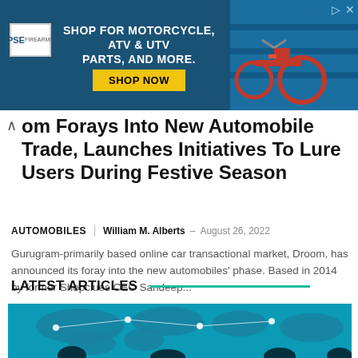[Figure (illustration): PSE advertisement banner: dark blue background with PSE logo, text 'SHOP FOR MOTORCYCLE, ATV & UTV PARTS, AND MORE.' with yellow 'SHOP NOW' button, and a motorcycle parts store image on the right]
om Forays Into New Automobile Trade, Launches Initiatives To Lure Users During Festive Season
AUTOMOBILES   William M. Alberts  –  August 26, 2022
Gurugram-primarily based online car transactional market, Droom, has announced its foray into the new automobiles' phase. Based in 2014 by former Shopclues CEO Sandeep...
LATEST ARTICLES
[Figure (photo): World map with glowing network connections overlaid, silhouettes of people in foreground, teal/cyan color scheme]